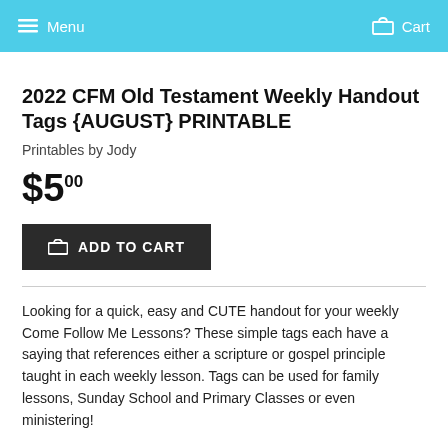Menu   Cart
2022 CFM Old Testament Weekly Handout Tags {AUGUST} PRINTABLE
Printables by Jody
$5.00
ADD TO CART
Looking for a quick, easy and CUTE handout for your weekly Come Follow Me Lessons? These simple tags each have a saying that references either a scripture or gospel principle taught in each weekly lesson. Tags can be used for family lessons, Sunday School and Primary Classes or even ministering!